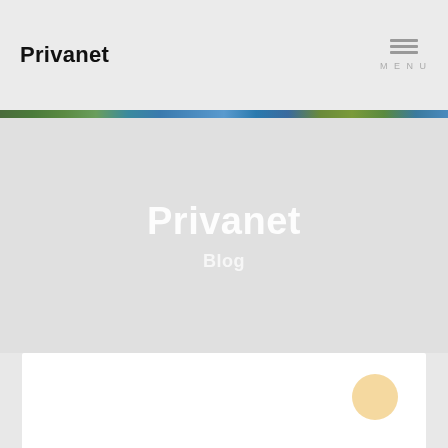Privanet
[Figure (photo): Thin decorative horizontal image strip showing a nature and sky scene with trees and water]
Privanet
Blog
[Figure (illustration): White content card area at the bottom of the page with a floating action button (golden/tan circle) in the bottom right corner]